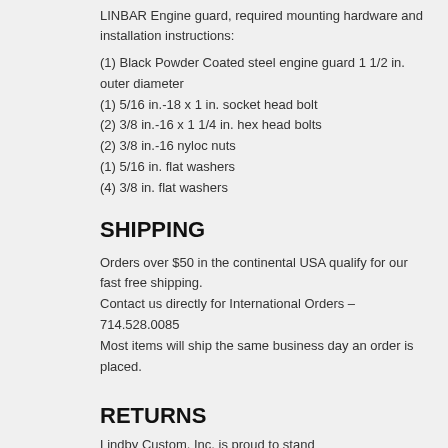LINBAR Engine guard, required mounting hardware and installation instructions:
(1) Black Powder Coated steel engine guard 1 1/2 in. outer diameter
(1) 5/16 in.-18 x 1 in. socket head bolt
(2) 3/8 in.-16 x 1 1/4 in. hex head bolts
(2) 3/8 in.-16 nyloc nuts
(1) 5/16 in. flat washers
(4) 3/8 in. flat washers
SHIPPING
Orders over $50 in the continental USA qualify for our fast free shipping. Contact us directly for International Orders – 714.528.0085 Most items will ship the same business day an order is placed.
RETURNS
Lindby Custom, Inc. is proud to stand